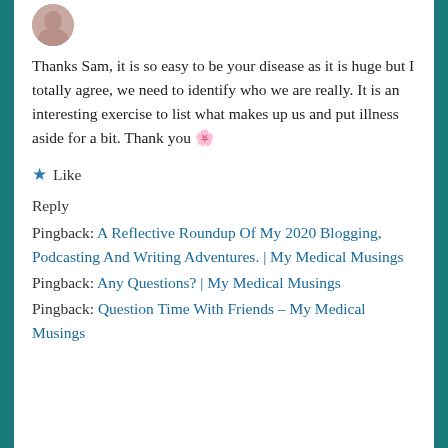[Figure (photo): Circular avatar photo of a person, partially visible at the top of the page]
Thanks Sam, it is so easy to be your disease as it is huge but I totally agree, we need to identify who we are really. It is an interesting exercise to list what makes up us and put illness aside for a bit. Thank you 🌸
★ Like
Reply
Pingback: A Reflective Roundup Of My 2020 Blogging, Podcasting And Writing Adventures. | My Medical Musings
Pingback: Any Questions? | My Medical Musings
Pingback: Question Time With Friends – My Medical Musings